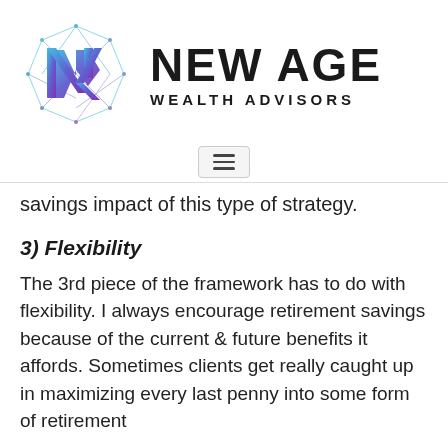[Figure (logo): New Age Wealth Advisors logo: geometric hexagon/polygon shape with a stylized 'N' checkmark in blue-to-purple gradient, next to the text 'NEW AGE WEALTH ADVISORS']
[Figure (other): Hamburger menu icon button (three horizontal lines) in a rounded rectangle border]
savings impact of this type of strategy.
3) Flexibility
The 3rd piece of the framework has to do with flexibility. I always encourage retirement savings because of the current & future benefits it affords. Sometimes clients get really caught up in maximizing every last penny into some form of retirement